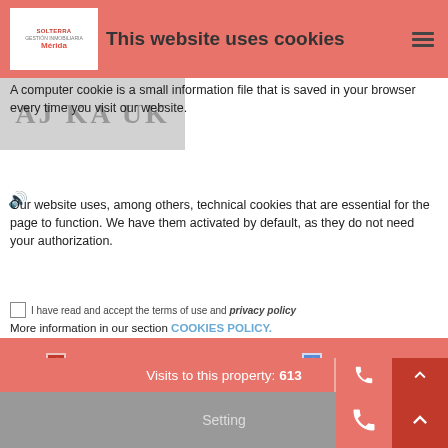This website uses cookies
A computer cookie is a small information file that is saved in your browser every time you visit our website.
Our website uses, among others, technical cookies that are essential for the page to function. We have them activated by default, as they do not need your authorization.
More information in our section COOKIES POLICY.
Necessary  Submit  Preferences
Statistics  Marketing
Reference: 1064/21
Accept selection
Visits to this property: 613
Setting